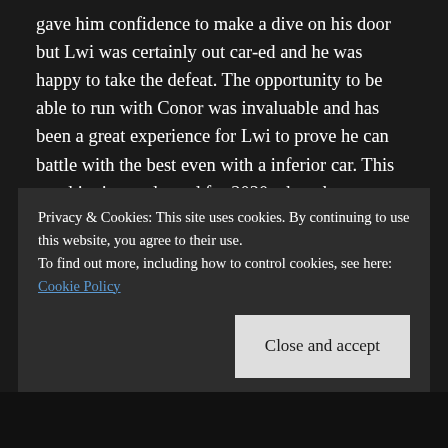gave him confidence to make a dive on his door but Lwi was certainly out car-ed and he was happy to take the defeat. The opportunity to be able to run with Conor was invaluable and has been a great experience for Lwi to prove he can battle with the best even with a inferior car. This sets him in good stead for 2020 when the next step up car is built.

An amazing weekend with some world class drivers, thank you to Kevin Quinn for the Invite, all our partners who help us out including Allitalia Wrexham, Irish Ferries, Sonoco UK fuels, L2D. We are always looking to work
Privacy & Cookies: This site uses cookies. By continuing to use this website, you agree to their use.
To find out more, including how to control cookies, see here: Cookie Policy
Close and accept